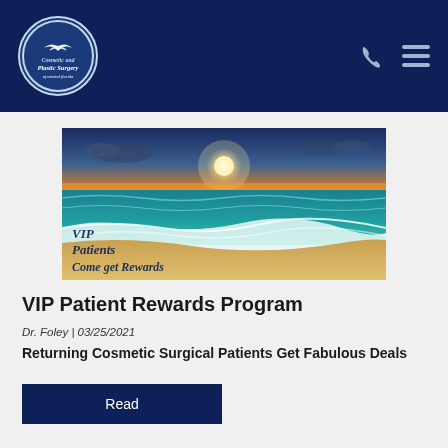Cosmetic and Plastic Surgery — navigation header with logo, phone icon, and menu icon
[Figure (photo): Sunset beach scene with ocean waves on sandy shore. Text overlay reads 'VIP Patients Come get Rewards' in dark blue italic font.]
VIP Patient Rewards Program
Dr. Foley | 03/25/2021
Returning Cosmetic Surgical Patients Get Fabulous Deals
Read